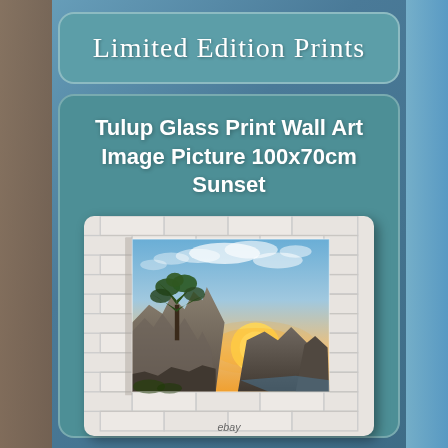Limited Edition Prints
Tulup Glass Print Wall Art Image Picture 100x70cm Sunset
[Figure (photo): A glass print wall art mounted on a white brick wall, showing a sunset landscape with a pine tree on rocky cliffs, mountains in the background, and a dramatic sky with warm golden light. eBay watermark at the bottom.]